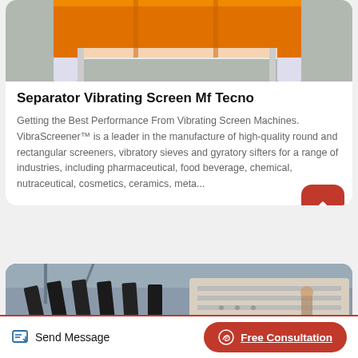[Figure (photo): Top portion of orange and white vibrating screen separator machine on factory floor]
Separator Vibrating Screen Mf Tecno
Getting the Best Performance From Vibrating Screen Machines. VibraScreener™ is a leader in the manufacture of high-quality round and rectangular screeners, vibratory sieves and gyratory sifters for a range of industries, including pharmaceutical, food beverage, chemical, nutraceutical, cosmetics, ceramics, meta...
[Figure (photo): Industrial vibrating screen equipment with black and white components in a large factory setting]
Send Message | Free Consultation